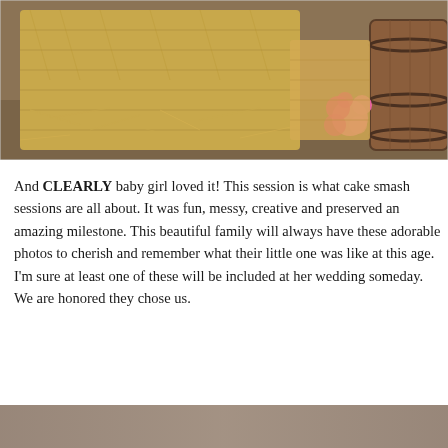[Figure (photo): Photo of hay bales stacked in a barn setting with scattered straw on the ground. A pink flower or decoration is visible near a wooden barrel on the right side.]
And CLEARLY baby girl loved it! This session is what cake smash sessions are all about. It was fun, messy, creative and preserved an amazing milestone. This beautiful family will always have these adorable photos to cherish and remember what their little one was like at this age. I'm sure at least one of these will be included at her wedding someday. We are honored they chose us.
[Figure (photo): Partial photo showing a taupe/brown background, likely the bottom portion of another cake smash session photo.]